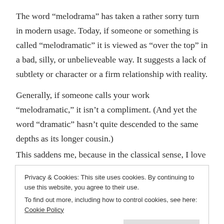The word “melodrama” has taken a rather sorry turn in modern usage. Today, if someone or something is called “melodramatic” it is viewed as “over the top” in a bad, silly, or unbelieveable way. It suggests a lack of subtlety or character or a firm relationship with reality. Generally, if someone calls your work “melodramatic,” it isn’t a compliment. (And yet the word “dramatic” hasn’t quite descended to the same depths as its longer cousin.)
This saddens me, because in the classical sense, I love
Privacy & Cookies: This site uses cookies. By continuing to use this website, you agree to their use.
To find out more, including how to control cookies, see here: Cookie Policy
stories are technically melodramas, from Little Dorrit